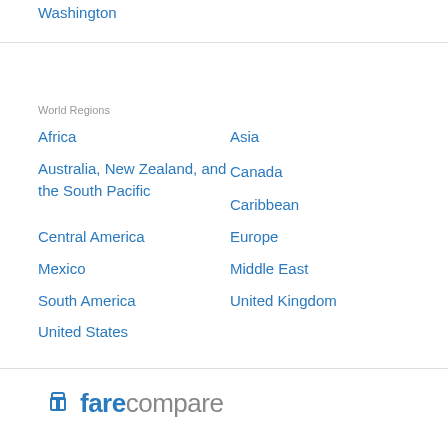Washington
World Regions
Africa
Asia
Australia, New Zealand, and the South Pacific
Canada
Caribbean
Central America
Europe
Mexico
Middle East
South America
United Kingdom
United States
farecompare